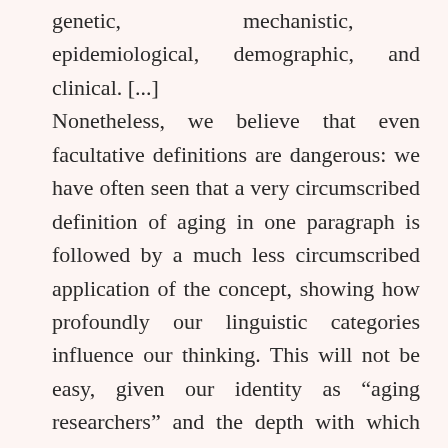genetic, mechanistic, epidemiological, demographic, and clinical. [...] Nonetheless, we believe that even facultative definitions are dangerous: we have often seen that a very circumscribed definition of aging in one paragraph is followed by a much less circumscribed application of the concept, showing how profoundly our linguistic categories influence our thinking. This will not be easy, given our identity as “aging researchers” and the depth with which the concept is anchored in our field and in the culture more broadly. Nonetheless, the biological arguments against aging as a unitary phenomenon are clear-cut, and the advantages to the field both numerous and important. Indeed, as the field moves toward